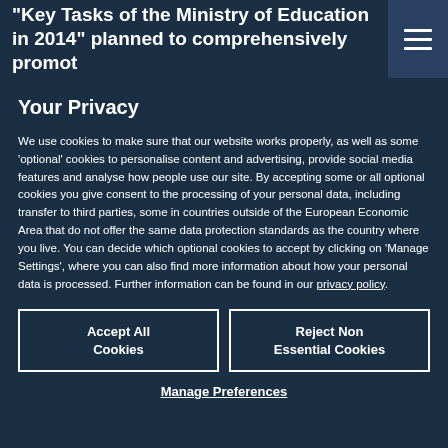"Key Tasks of the Ministry of Education in 2014" planned to comprehensively promote
Your Privacy
We use cookies to make sure that our website works properly, as well as some ‘optional’ cookies to personalise content and advertising, provide social media features and analyse how people use our site. By accepting some or all optional cookies you give consent to the processing of your personal data, including transfer to third parties, some in countries outside of the European Economic Area that do not offer the same data protection standards as the country where you live. You can decide which optional cookies to accept by clicking on ‘Manage Settings’, where you can also find more information about how your personal data is processed. Further information can be found in our privacy policy.
Accept All Cookies
Reject Non Essential Cookies
Manage Preferences